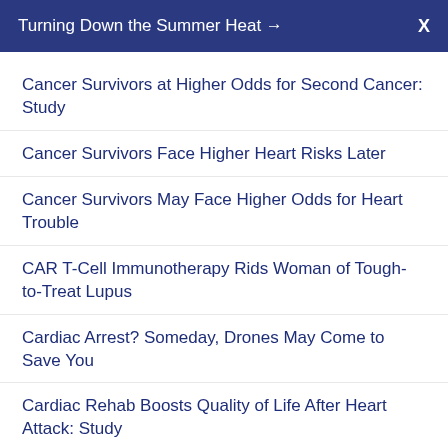Turning Down the Summer Heat →  X
Cancer Survivors at Higher Odds for Second Cancer: Study
Cancer Survivors Face Higher Heart Risks Later
Cancer Survivors May Face Higher Odds for Heart Trouble
CAR T-Cell Immunotherapy Rids Woman of Tough-to-Treat Lupus
Cardiac Arrest? Someday, Drones May Come to Save You
Cardiac Rehab Boosts Quality of Life After Heart Attack: Study
Cataracts Tied to Higher Odds of Death From Heart Disease
Cats Might Be Purrfect Model for Human Genetics Research